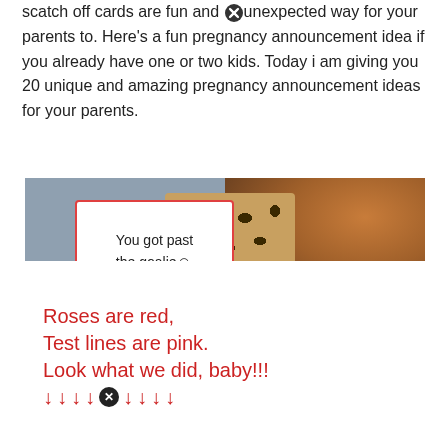scatch off cards are fun and unexpected way for your parents to. Here's a fun pregnancy announcement idea if you already have one or two kids. Today i am giving you 20 unique and amazing pregnancy announcement ideas for your parents.
[Figure (photo): Photo showing a giraffe-pattern card reading 'You got past the goalie :)' with a stuffed animal in the background, and a white sign below reading 'Roses are red, Test lines are pink. Look what we did, baby!!! ↓ ↓ ↓ ↓ ↓ ↓ ↓ ↓' in red handwritten letters.]